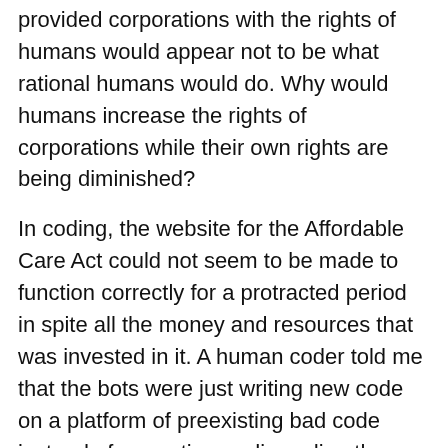provided corporations with the rights of humans would appear not to be what rational humans would do. Why would humans increase the rights of corporations while their own rights are being diminished?
In coding, the website for the Affordable Care Act could not seem to be made to function correctly for a protracted period in spite all the money and resources that was invested in it. A human coder told me that the bots were just writing new code on a platform of preexisting bad code instead of correcting or discarding the underlying errors.
In medicine, patients like Joan Rivers die during minor operations at out-patient facilities because of the failure to provide CPR at the facility. A bot in charge of the operation doesn't do CPR.